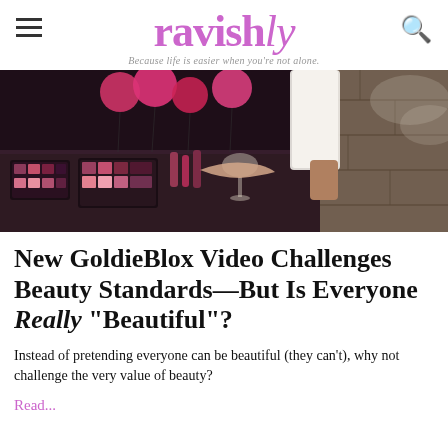ravishly — Because life is easier when you're not alone.
[Figure (photo): A woman in a white top reaching over a table covered with makeup products and pink balloons in the background.]
New GoldieBlox Video Challenges Beauty Standards—But Is Everyone Really "Beautiful"?
Instead of pretending everyone can be beautiful (they can't), why not challenge the very value of beauty?
Read...